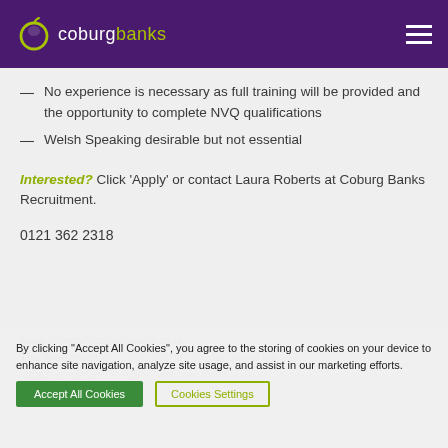coburg banks
No experience is necessary as full training will be provided and the opportunity to complete NVQ qualifications
Welsh Speaking desirable but not essential
Interested? Click ‘Apply’ or contact Laura Roberts at Coburg Banks Recruitment.
0121 362 2318
By clicking “Accept All Cookies”, you agree to the storing of cookies on your device to enhance site navigation, analyze site usage, and assist in our marketing efforts.